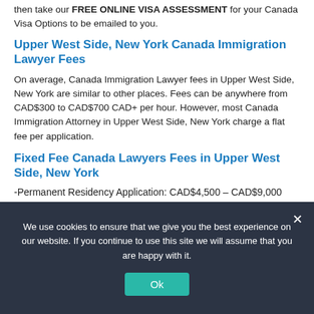then take our FREE ONLINE VISA ASSESSMENT for your Canada Visa Options to be emailed to you.
Upper West Side, New York Canada Immigration Lawyer Fees
On average, Canada Immigration Lawyer fees in Upper West Side, New York are similar to other places. Fees can be anywhere from CAD$300 to CAD$700 CAD+ per hour. However, most Canada Immigration Attorney in Upper West Side, New York charge a flat fee per application.
Fixed Fee Canada Lawyers Fees in Upper West Side, New York
-Permanent Residency Application: CAD$4,500 – CAD$9,000
-Family Visa Class: CAD$5,500 – CAD$8,000
-Student Visa: CAD$3,500 – CAD$5,000
We use cookies to ensure that we give you the best experience on our website. If you continue to use this site we will assume that you are happy with it.